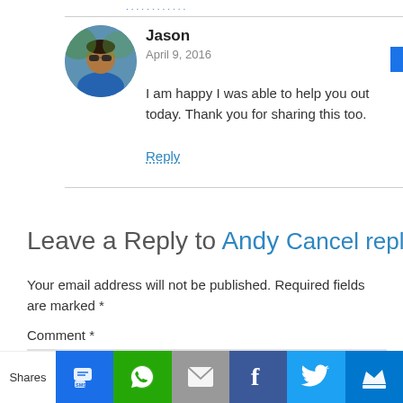................
[Figure (photo): Round avatar photo of Jason, a man wearing sunglasses outdoors]
Jason
April 9, 2016
I am happy I was able to help you out today. Thank you for sharing this too.
Reply
Leave a Reply to Andy Cancel reply
Your email address will not be published. Required fields are marked *
Comment *
[Figure (screenshot): Social share bar with SMS, WhatsApp, Email, Facebook, Twitter, and crown icon buttons]